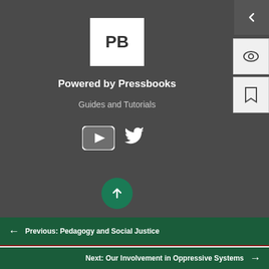[Figure (logo): Pressbooks logo — white square with bold 'PB' text in dark letters]
Powered by Pressbooks
Guides and Tutorials
[Figure (illustration): YouTube play button icon and Twitter bird icon in white]
[Figure (illustration): Green circle with upward arrow (Back to Top button)]
← Previous: Pedagogy and Social Justice
Next: Our Involvement in Oppressive Systems →